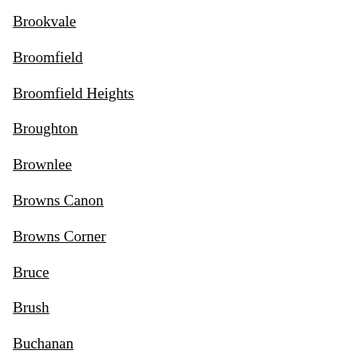Brookvale
Broomfield
Broomfield Heights
Broughton
Brownlee
Browns Canon
Browns Corner
Bruce
Brush
Buchanan
Buckeye